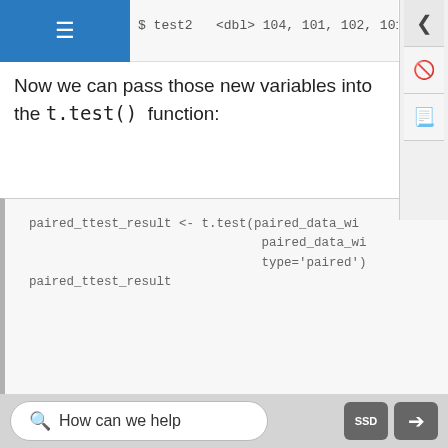Now we can pass those new variables into the t.test() function:
paired_ttest_result <- t.test(paired_data_wi
                             paired_data_wi
                             type='paired')
paired_ttest_result
##
##  Welch Two Sample t-test
##
## data:  paired_data_wide$test1 and paired_
## t = -1, df = 73, p-value = 0.2
## alternative hypothesis: true difference i
## 95 percent confidence interval:
##  -10.5   2.3
## sample estimates:
How can we help